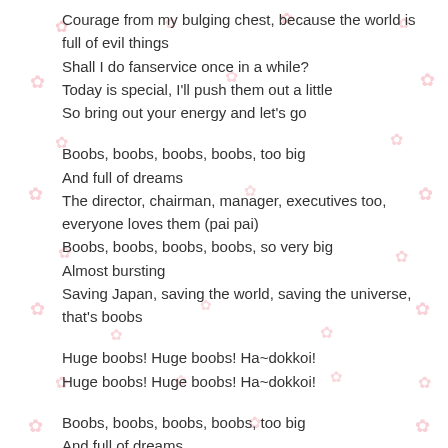Courage from my bulging chest, because the world is full of evil things
Shall I do fanservice once in a while?
Today is special, I'll push them out a little
So bring out your energy and let's go

Boobs, boobs, boobs, boobs, too big
And full of dreams
The director, chairman, manager, executives too, everyone loves them (pai pai)
Boobs, boobs, boobs, boobs, so very big
Almost bursting
Saving Japan, saving the world, saving the universe, that's boobs

Huge boobs! Huge boobs! Ha~dokkoi!
Huge boobs! Huge boobs! Ha~dokkoi!

Boobs, boobs, boobs, boobs, too big
And full of dreams